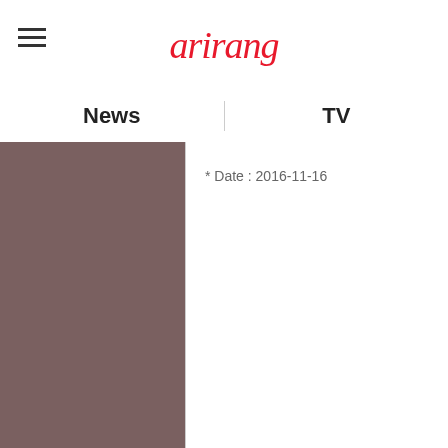arirang
News
TV
[Figure (logo): Naver TV logo with green play button triangle and green bold text NAVER TV]
* Date : 2016-11-16